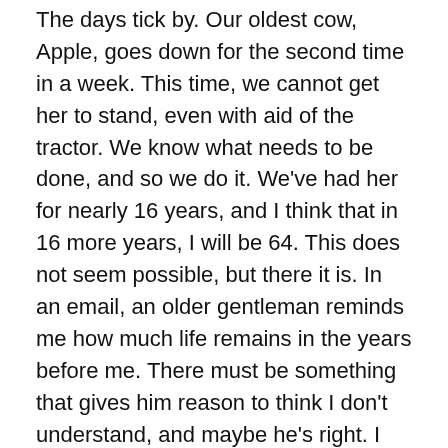The days tick by. Our oldest cow, Apple, goes down for the second time in a week. This time, we cannot get her to stand, even with aid of the tractor. We know what needs to be done, and so we do it. We've had her for nearly 16 years, and I think that in 16 more years, I will be 64. This does not seem possible, but there it is. In an email, an older gentleman reminds me how much life remains in the years before me. There must be something that gives him reason to think I don't understand, and maybe he's right. I admit to sometimes feeling old already. But then, sometimes I feel young, too.
I tell my students “let go of inspiration,” by which I mean “don’t wait around for inspiration.” Which is not the same as not enjoying it when it comes. Oh, yes, definitely, enjoy it when it happens. It’s a gift. But the rest of time? Do the work. Sweat it out. Put in the effort. Because if you do,